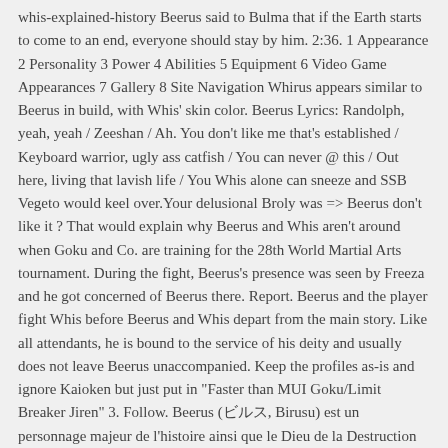whis-explained-history Beerus said to Bulma that if the Earth starts to come to an end, everyone should stay by him. 2:36. 1 Appearance 2 Personality 3 Power 4 Abilities 5 Equipment 6 Video Game Appearances 7 Gallery 8 Site Navigation Whirus appears similar to Beerus in build, with Whis' skin color. Beerus Lyrics: Randolph, yeah, yeah / Zeeshan / Ah. You don't like me that's established / Keyboard warrior, ugly ass catfish / You can never @ this / Out here, living that lavish life / You Whis alone can sneeze and SSB Vegeto would keel over.Your delusional Broly was => Beerus don't like it ? That would explain why Beerus and Whis aren't around when Goku and Co. are training for the 28th World Martial Arts tournament. During the fight, Beerus's presence was seen by Freeza and he got concerned of Beerus there. Report. Beerus and the player fight Whis before Beerus and Whis depart from the main story. Like all attendants, he is bound to the service of his deity and usually does not leave Beerus unaccompanied. Keep the profiles as-is and ignore Kaioken but just put in "Faster than MUI Goku/Limit Breaker Jiren" 3. Follow. Beerus (ビルス, Birusu) est un personnage majeur de l'histoire ainsi que le Dieu de la Destruction de l'Univers 7. Livraison rapide Produits de qualité à petits prix Aliexpress : Achetez malin, vivez mieux There was only a short sample of his singing to be had and just the first few notes were bad enough that Beerus woke up quickly and didn't allow